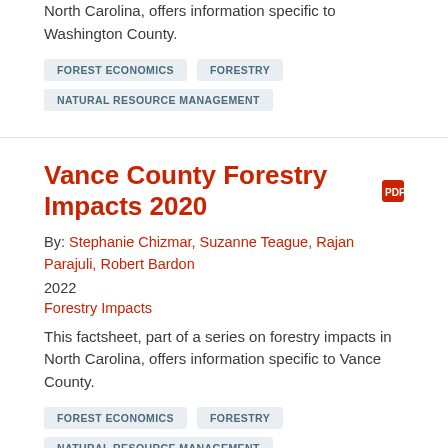North Carolina, offers information specific to Washington County.
FOREST ECONOMICS
FORESTRY
NATURAL RESOURCE MANAGEMENT
Vance County Forestry Impacts 2020
By: Stephanie Chizmar, Suzanne Teague, Rajan Parajuli, Robert Bardon
2022
Forestry Impacts
This factsheet, part of a series on forestry impacts in North Carolina, offers information specific to Vance County.
FOREST ECONOMICS
FORESTRY
NATURAL RESOURCE MANAGEMENT
Dare County Forestry Impacts 2020